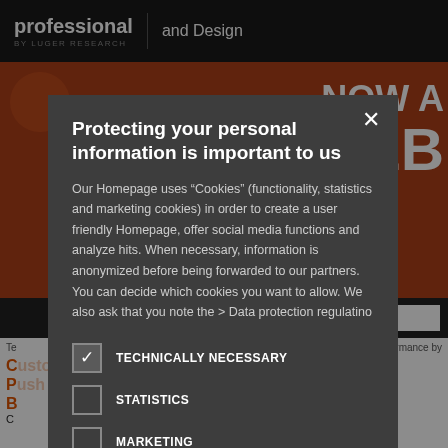professional | and Design
BY LUGER RESEARCH
[Figure (screenshot): Website screenshot showing a dark header with 'professional | and Design BY LUGER RESEARCH', an orange/red banner with 'NOW A WEB' text, a search bar, and partially visible article text about LED lumens-per-watt.]
Protecting your personal information is important to us
Our Homepage uses "Cookies" (functionality, statistics and marketing cookies) in order to create a user friendly Homepage, offer social media functions and analyze hits. When necessary, information is anonymized before being forwarded to our partners. You can decide which cookies you want to allow. We also ask that you note the > Data protection regulatino
TECHNICALLY NECESSARY
STATISTICS
MARKETING
FUNCTIONALITY